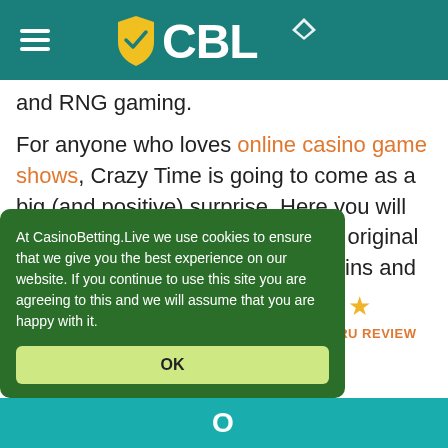CBL (CasinoBetting.Live) logo and navigation
and RNG gaming.
For anyone who loves online casino game shows, Crazy Time is going to come as a big (and positive) surprise. Here you will find bonuses of up to 25,000x the original value, which could lead to huge wins and an unforgettable adrenaline rush.
At CasinoBetting.Live we use cookies to ensure that we give you the best experience on our website. If you continue to use this site you are agreeing to this and we will assume that you are happy with it.
OK
JACKPOT GURU REVIEW
20